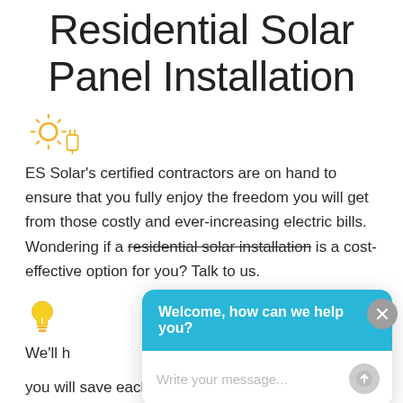Residential Solar Panel Installation
[Figure (illustration): Solar panel with plug/electric icon in golden/yellow color]
ES Solar's certified contractors are on hand to ensure that you fully enjoy the freedom you will get from those costly and ever-increasing electric bills. Wondering if a residential solar installation is a cost-effective option for you? Talk to us.
[Figure (screenshot): Chat widget overlay showing 'Welcome, how can we help you?' header in blue and a message input area reading 'Write your message...']
[Figure (illustration): Light bulb icon in golden/yellow color]
We'll h
you will save each month on electricity. You can